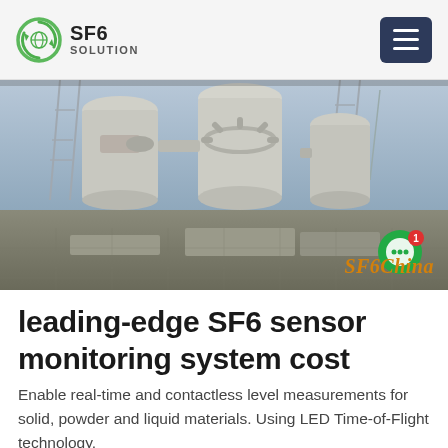SF6 SOLUTION
[Figure (photo): Industrial electrical substation with large SF6 gas-insulated equipment, switchgear pipes and pylons visible. 'SF6China' watermark on lower right.]
leading-edge SF6 sensor monitoring system cost
Enable real-time and contactless level measurements for solid, powder and liquid materials. Using LED Time-of-Flight technology,